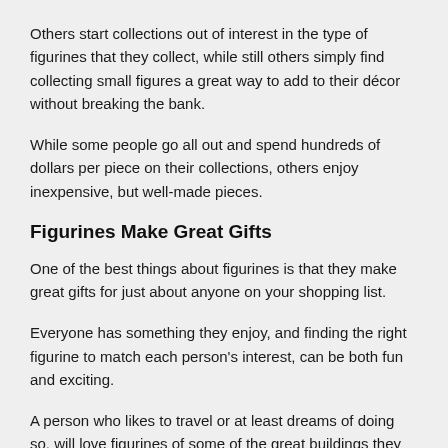Others start collections out of interest in the type of figurines that they collect, while still others simply find collecting small figures a great way to add to their décor without breaking the bank.
While some people go all out and spend hundreds of dollars per piece on their collections, others enjoy inexpensive, but well-made pieces.
Figurines Make Great Gifts
One of the best things about figurines is that they make great gifts for just about anyone on your shopping list.
Everyone has something they enjoy, and finding the right figurine to match each person's interest, can be both fun and exciting.
A person who likes to travel or at least dreams of doing so, will love figurines of some of the great buildings they would someday like to see, such as a pyramid, Big Ben, or the Eiffel Tower.